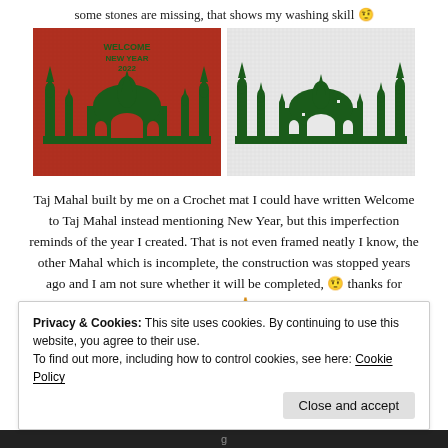some stones are missing, that shows my washing skill 🤨
[Figure (photo): Two crochet mats showing Taj Mahal design. Left: red background with dark green Taj Mahal pattern and text 'WELCOME NEW YEAR 2022'. Right: white background with green Taj Mahal pattern (incomplete, missing some stones).]
Taj Mahal built by me on a Crochet mat I could have written Welcome to Taj Mahal instead mentioning New Year, but this imperfection reminds of the year I created. That is not even framed neatly I know, the other Mahal which is incomplete, the construction was stopped years ago and I am not sure whether it will be completed, 🤨 thanks for visiting 🙏
Privacy & Cookies: This site uses cookies. By continuing to use this website, you agree to their use.
To find out more, including how to control cookies, see here: Cookie Policy